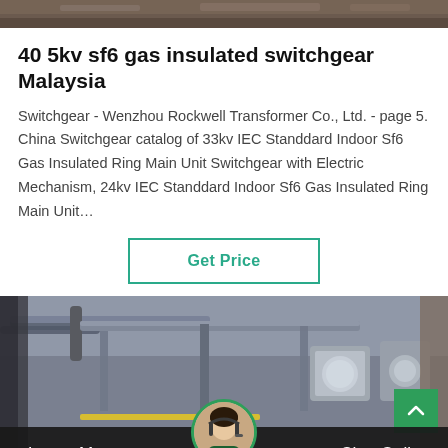[Figure (photo): Top banner image showing industrial/technical equipment interior]
40 5kv sf6 gas insulated switchgear Malaysia
Switchgear - Wenzhou Rockwell Transformer Co., Ltd. - page 5. China Switchgear catalog of 33kv IEC Standdard Indoor Sf6 Gas Insulated Ring Main Unit Switchgear with Electric Mechanism, 24kv IEC Standdard Indoor Sf6 Gas Insulated Ring Main Unit…
Get Price
[Figure (photo): Photo of industrial electrical switchgear installation from below, showing pipes, cables, and a worker in a blue hard hat]
Leave Message
Chat Online